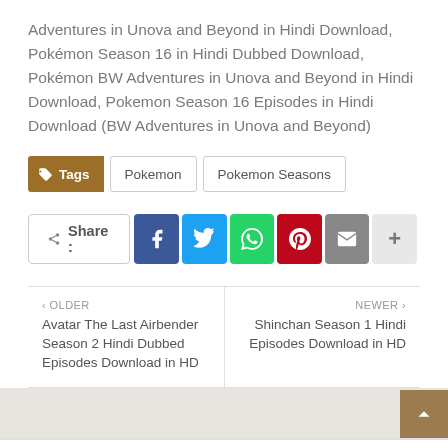Adventures in Unova and Beyond in Hindi Download, Pokémon Season 16 in Hindi Dubbed Download, Pokémon BW Adventures in Unova and Beyond in Hindi Download, Pokemon Season 16 Episodes in Hindi Download (BW Adventures in Unova and Beyond)
Tags  Pokemon  Pokemon Seasons
[Figure (infographic): Share buttons row: Share label, Facebook, Twitter, WhatsApp, Pinterest, Email, More (+) buttons]
< OLDER
Avatar The Last Airbender Season 2 Hindi Dubbed Episodes Download in HD
NEWER >
Shinchan Season 1 Hindi Episodes Download in HD